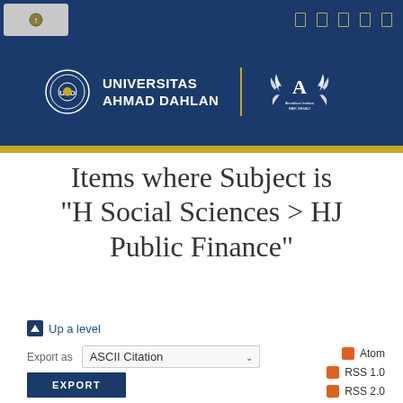[Figure (logo): Universitas Ahmad Dahlan university banner with logo, name, and accreditation badge on dark blue background with gold bar]
Items where Subject is "H Social Sciences > HJ Public Finance"
Up a level
Export as  ASCII Citation
EXPORT
Atom
RSS 1.0
RSS 2.0